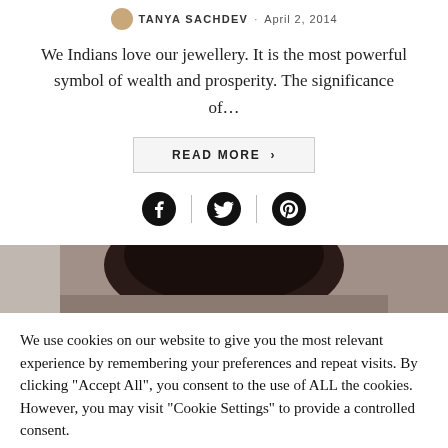By TANYA SACHDEV · April 2, 2014
We Indians love our jewellery. It is the most powerful symbol of wealth and prosperity. The significance of...
READ MORE >
[Figure (illustration): Social media sharing icons: Facebook, Twitter, Pinterest separated by vertical dividers]
[Figure (photo): A person wearing dark patterned clothing, cropped image showing upper body against a grey/beige background]
We use cookies on our website to give you the most relevant experience by remembering your preferences and repeat visits. By clicking "Accept All", you consent to the use of ALL the cookies. However, you may visit "Cookie Settings" to provide a controlled consent.
Cookie Settings
Accept All